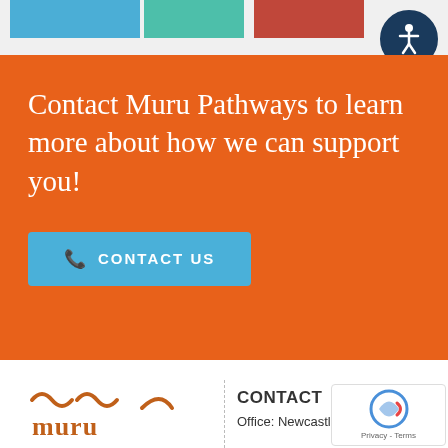[Figure (infographic): Color strip header bar with blue, teal, and dark red/red-brown rectangles, plus an accessibility icon button (person in circle) in top right corner]
Contact Muru Pathways to learn more about how we can support you!
CONTACT US
[Figure (logo): Muru Pathways logo - stylized orange/brown text with decorative swirls]
CONTACT
Office: Newcastle NS...